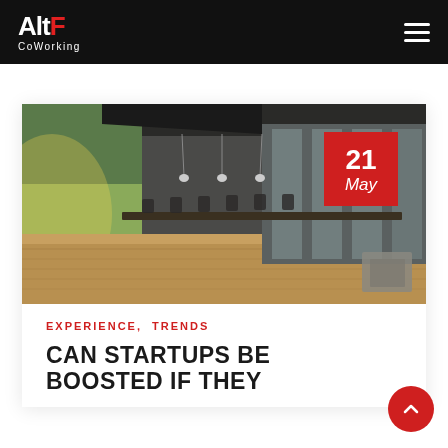AltF CoWorking
[Figure (photo): Interior of a modern coworking space with long desks, chairs, computers, pendant lights, wood flooring, and floor-to-ceiling windows with greenery outside. A red date badge shows '21 May' in the top-right corner.]
EXPERIENCE, TRENDS
CAN STARTUPS BE BOOSTED IF THEY